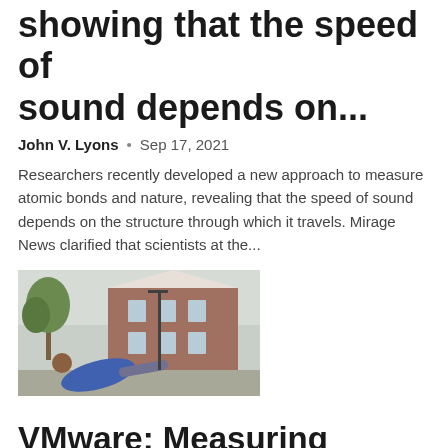showing that the speed of sound depends on...
John V. Lyons  •  Sep 17, 2021
Researchers recently developed a new approach to measure atomic bonds and nature, revealing that the speed of sound depends on the structure through which it travels. Mirage News clarified that scientists at the...
[Figure (photo): Person in a blue jacket leaning back outdoors, with a brick building and trees in the background]
VMware: Measuring Constructivity and